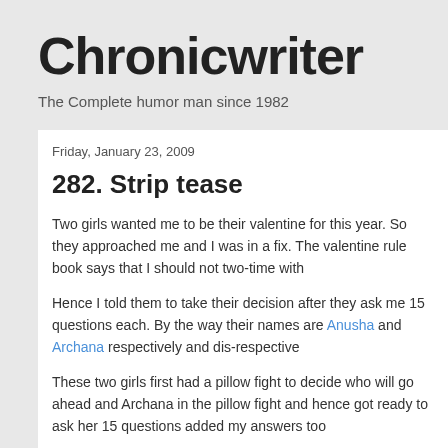Chronicwriter
The Complete humor man since 1982
Friday, January 23, 2009
282. Strip tease
Two girls wanted me to be their valentine for this year. So they approached me and I was in a fix. The valentine rule book says that I should not two-time with
Hence I told them to take their decision after they ask me 15 questions each. By the way their names are Anusha and Archana respectively and dis-respectively
These two girls first had a pillow fight to decide who will go ahead and Archana in the pillow fight and hence got ready to ask her 15 questions added my answers too
Anusha's question